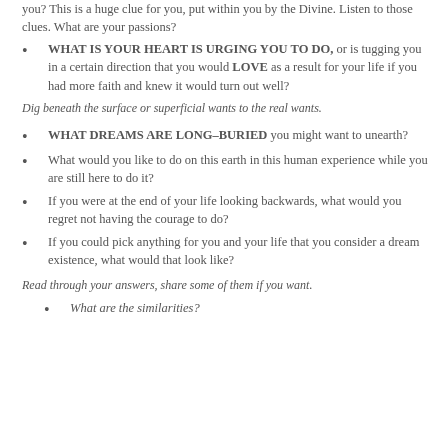you? This is a huge clue for you, put within you by the Divine. Listen to those clues. What are your passions?
WHAT IS YOUR HEART IS URGING YOU TO DO, or is tugging you in a certain direction that you would LOVE as a result for your life if you had more faith and knew it would turn out well?
Dig beneath the surface or superficial wants to the real wants.
WHAT DREAMS ARE LONG–BURIED you might want to unearth?
What would you like to do on this earth in this human experience while you are still here to do it?
If you were at the end of your life looking backwards, what would you regret not having the courage to do?
If you could pick anything for you and your life that you consider a dream existence, what would that look like?
Read through your answers, share some of them if you want.
What are the similarities?